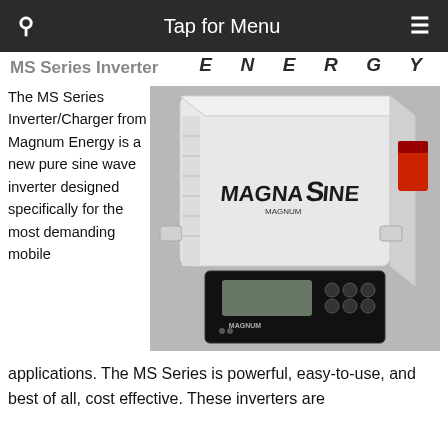Tap for Menu
MS Series Inverter
ENERGY
[Figure (photo): Photo of a white Magnum Energy MagnaSine MS Series Inverter/Charger unit with a black remote control panel in front of it]
The MS Series Inverter/Charger from Magnum Energy is a new pure sine wave inverter designed specifically for the most demanding mobile applications. The MS Series is powerful, easy-to-use, and best of all, cost effective. These inverters are designed for RV use and...